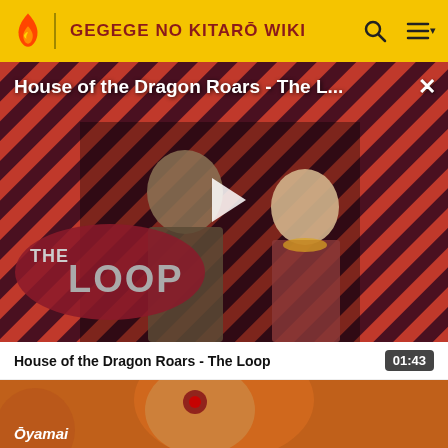GEGEGE NO KITARŌ WIKI
[Figure (screenshot): Video thumbnail for 'House of the Dragon Roars - The L...' with diagonal red and dark striped background, two characters in medieval/fantasy costumes, 'THE LOOP' logo overlaid, and a white play button triangle in the center. Close (×) button in top-right corner.]
House of the Dragon Roars - The Loop
01:43
[Figure (screenshot): Partial video thumbnail showing an animated orange/brown creature character. Text 'Ōyamai' visible at bottom left.]